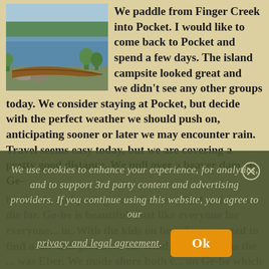[Figure (photo): Photo of a canoe or log resting along a lakeside shoreline with green trees in the background and blue water]
We paddle from Finger Creek into Pocket. I would like to come back to Pocket and spend a few days. The island campsite looked great and we didn't see any other groups today. We consider staying at Pocket, but decide with the perfect weather we should push on, anticipating sooner or later we may encounter rain. Travel seems easy today, but we are covering a pretty good distance. We pull over a beaver dam on Ge-be Creek, and portage into Ge-be to find a view to die for. Ge-be is beautiful. Just like everyone for everyone... in. With the kids on board, we wanted to find a site and get out of the wind. Our goal was the ... was Eber. We made shore both c... on Ge-be which I would rate as 4.5 star. It has t...
We use cookies to enhance your experience, for analytics, and to support 3rd party content and advertising providers. If you continue using this website, you agree to our privacy and legal agreement.